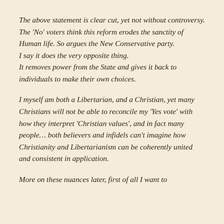The above statement is clear cut, yet not without controversy.
The 'No' voters think this reform erodes the sanctity of Human life. So argues the New Conservative party.
I say it does the very opposite thing.
It removes power from the State and gives it back to individuals to make their own choices.
I myself am both a Libertarian, and a Christian, yet many Christians will not be able to reconcile my 'Yes vote' with how they interpret 'Christian values', and in fact many people… both believers and infidels can't imagine how Christianity and Libertarianism can be coherently united and consistent in application.
More on these nuances later, first of all I want to